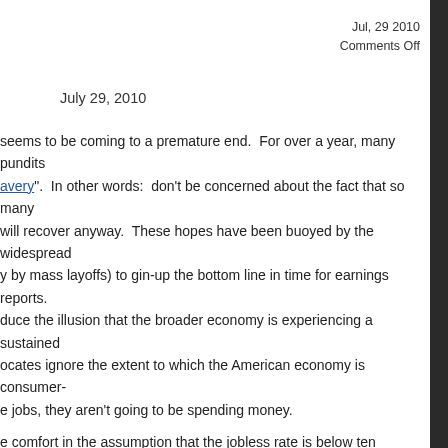Jul, 29 2010
Comments Off
July 29, 2010
seems to be coming to a premature end.  For over a year, many pundits avery".  In other words:  don't be concerned about the fact that so many will recover anyway.  These hopes have been buoyed by the widespread y by mass layoffs) to gin-up the bottom line in time for earnings reports. duce the illusion that the broader economy is experiencing a sustained ocates ignore the extent to which the American economy is consumer- e jobs, they aren't going to be spending money.
e comfort in the assumption that the jobless rate is below ten percent, many of the statistics to that effect provided by the Department of Labor.  AOL's ommentary on the June, 2010 unemployment survey conducted by Metrica Market Intelligence:
households with at least one member who's unemployed and looking for a n the second week of July showed 28.6% in that situation.  That translates %, says Mayur, who has started questioning the accuracy of the Labor